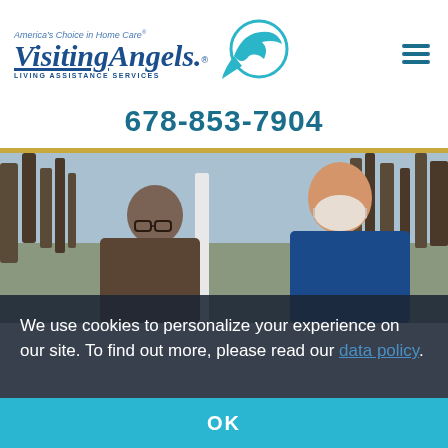[Figure (logo): Visiting Angels logo with tagline 'America's Choice in Home Care' and a teal bird graphic, with Living Assistance Services text]
678-853-7904
[Figure (photo): Outdoor photo of a caregiver wearing a face mask and blue scrubs speaking with an elderly person, trees in background]
We use cookies to personalize your experience on our site. To find out more, please read our data policy.
OK